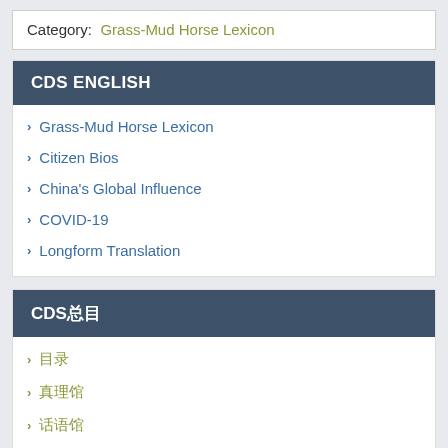Category:  Grass-Mud Horse Lexicon
CDS ENGLISH
Grass-Mud Horse Lexicon
Citizen Bios
China's Global Influence
COVID-19
Longform Translation
CDS总目
目录
真理馆
话语馆
人物馆